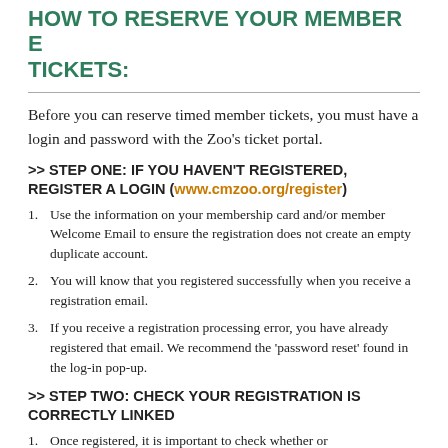HOW TO RESERVE YOUR MEMBER E TICKETS:
Before you can reserve timed member tickets, you must have a login and password with the Zoo's ticket portal.
>> STEP ONE: IF YOU HAVEN'T REGISTERED, REGISTER A LOGIN (www.cmzoo.org/register)
Use the information on your membership card and/or member Welcome Email to ensure the registration does not create an empty duplicate account.
You will know that you registered successfully when you receive a registration email.
If you receive a registration processing error, you have already registered that email. We recommend the 'password reset' found in the log-in pop-up.
>> STEP TWO: CHECK YOUR REGISTRATION IS CORRECTLY LINKED
Once registered, it is important to check whether or